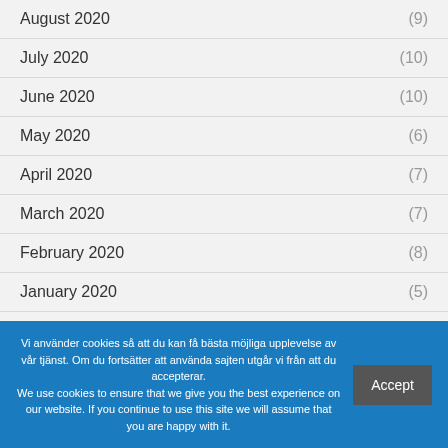August 2020 (9)
July 2020 (10)
June 2020 (10)
May 2020 (6)
April 2020 (7)
March 2020 (7)
February 2020 (8)
January 2020 (5)
Vi använder cookies så att du kan få bästa möjliga upplevelse av vår tjänst. Om du fortsätter att använda sajten utgår vi från att du accepterar. We use cookies to ensure that we give you the best experience on our website. If you continue to use this site we will assume that you are happy with it. Accept